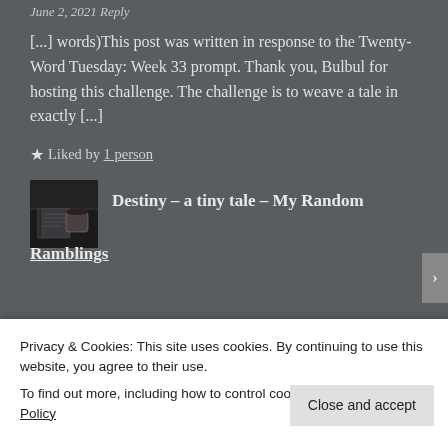June 2, 2021 Reply
[...] words)This post was written in response to the Twenty-Word Tuesday: Week 33 prompt. Thank you, Bulbul for hosting this challenge. The challenge is to weave a tale in exactly [...]
★ Liked by 1 person
[Figure (photo): Thumbnail image showing a book, journal, and coffee cup on a dark surface]
Destiny – a tiny tale – My Random Ramblings
Privacy & Cookies: This site uses cookies. By continuing to use this website, you agree to their use.
To find out more, including how to control cookies, see here: Cookie Policy